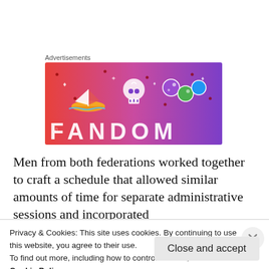Advertisements
[Figure (illustration): Fandom advertisement banner with colorful gradient background (pink to purple), featuring a sailboat, skull, dice, and the word FANDOM in large letters with decorative icons.]
Men from both federations worked together to craft a schedule that allowed similar amounts of time for separate administrative sessions and incorporated
Privacy & Cookies: This site uses cookies. By continuing to use this website, you agree to their use.
To find out more, including how to control cookies, see here:
Cookie Policy
Close and accept